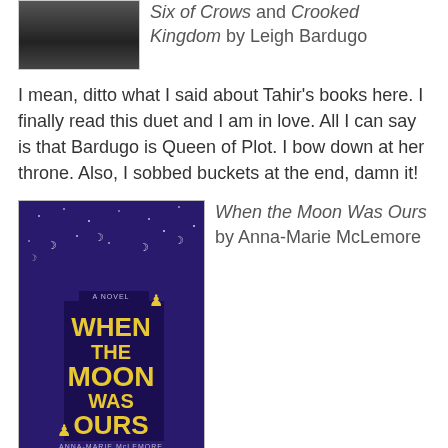[Figure (photo): Partial view of a dark book cover image at the top]
Six of Crows and Crooked Kingdom by Leigh Bardugo
I mean, ditto what I said about Tahir's books here. I finally read this duet and I am in love. All I can say is that Bardugo is Queen of Plot. I bow down at her throne. Also, I sobbed buckets at the end, damn it!
[Figure (photo): Book cover of When the Moon Was Ours by Anna-Marie McLemore — dark blue/purple background with silhouettes and yellow text]
When the Moon Was Ours by Anna-Marie McLemore
It's always a special sort of delight to read writing that is so lovely, a story that is so heartbreaking and enchanting, a